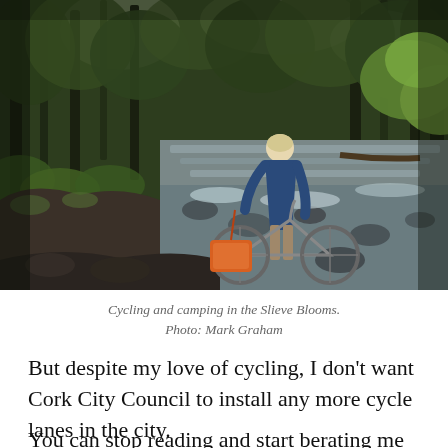[Figure (photo): A person carrying a bicycle loaded with an orange pannier bag across a rocky stream in a dense green forest, resembling the Slieve Blooms. The scene shows trees, mossy rocks, and flowing water.]
Cycling and camping in the Slieve Blooms.
Photo: Mark Graham
But despite my love of cycling, I don't want Cork City Council to install any more cycle lanes in the city.
You can stop reading and start berating me at this